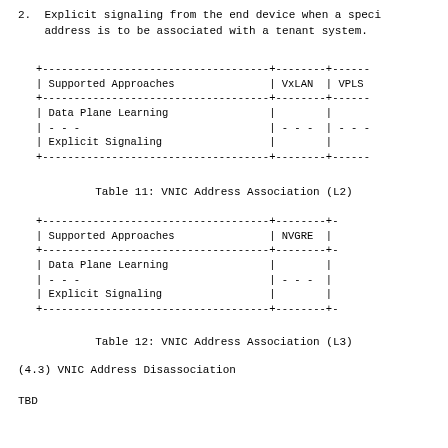2.  Explicit signaling from the end device when a specific address is to be associated with a tenant system.
| Supported Approaches | VxLAN | VPLS |
| --- | --- | --- |
| Data Plane Learning |  |  |
| - - - | - - - | - - - |
| Explicit Signaling |  |  |
Table 11: VNIC Address Association (L2)
| Supported Approaches | NVGRE |
| --- | --- |
| Data Plane Learning |  |
| - - - | - - - |
| Explicit Signaling |  |
Table 12: VNIC Address Association (L3)
(4.3) VNIC Address Disassociation
TBD